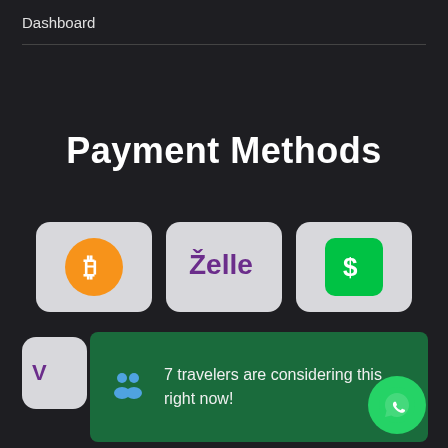Dashboard
Payment Methods
[Figure (infographic): Three payment method cards: Bitcoin (orange circle with B logo), Zelle (purple text logo on grey card), Cash App (green rounded square with dollar sign on grey card)]
[Figure (infographic): Green notification banner with blue people icon and text '7 travelers are considering this right now!' with WhatsApp floating button in bottom right corner]